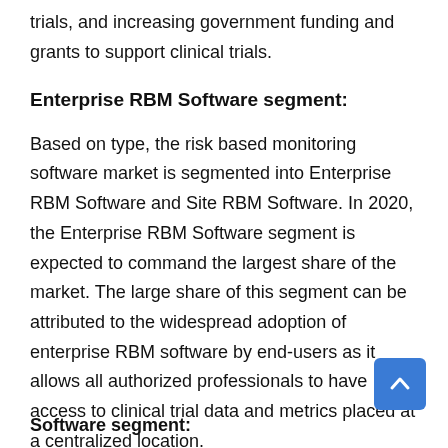trials, and increasing government funding and grants to support clinical trials.
Enterprise RBM Software segment:
Based on type, the risk based monitoring software market is segmented into Enterprise RBM Software and Site RBM Software. In 2020, the Enterprise RBM Software segment is expected to command the largest share of the market. The large share of this segment can be attributed to the widespread adoption of enterprise RBM software by end-users as it allows all authorized professionals to have access to clinical trial data and metrics placed at a centralized location.
Software segment: